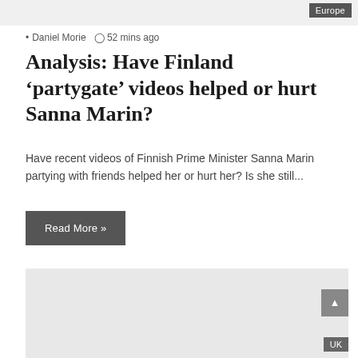[Figure (screenshot): Top banner area with light gray background]
Europe
Daniel Morie  52 mins ago
Analysis: Have Finland ‘partygate’ videos helped or hurt Sanna Marin?
Have recent videos of Finnish Prime Minister Sanna Marin partying with friends helped her or hurt her? Is she still...
Read More »
[Figure (photo): Large light gray image block placeholder]
UK